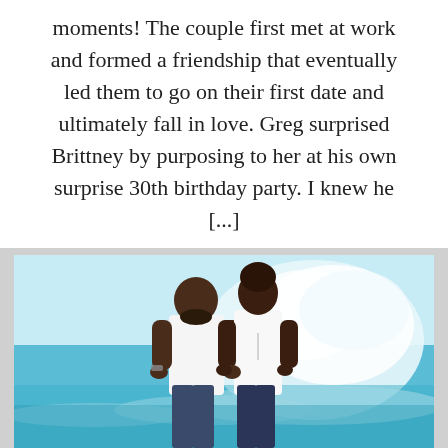moments! The couple first met at work and formed a friendship that eventually led them to go on their first date and ultimately fall in love. Greg surprised Brittney by purposing to her at his own surprise 30th birthday party. I knew he [...]
[Figure (photo): A couple standing on a beach with ocean waves splashing behind them. The man is on the left wearing a white shirt and jeans; the woman is on the right wearing a white top and jeans.]